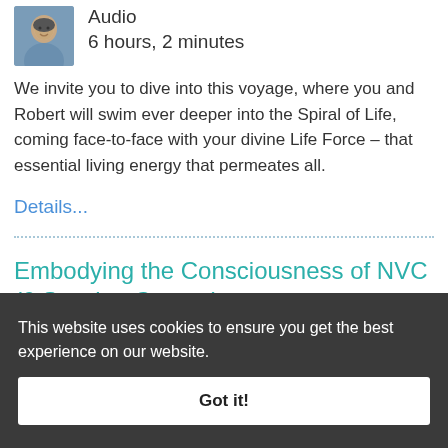[Figure (photo): Headshot photo of Robert Gonzales, a man smiling, wearing a blue shirt]
Audio
6 hours, 2 minutes
We invite you to dive into this voyage, where you and Robert will swim ever deeper into the Spiral of Life, coming face-to-face with your divine Life Force – that essential living energy that permeates all.
Details...
Embodying the Consciousness of NVC (6 Session Course)
This website uses cookies to ensure you get the best experience on our website.
Got it!